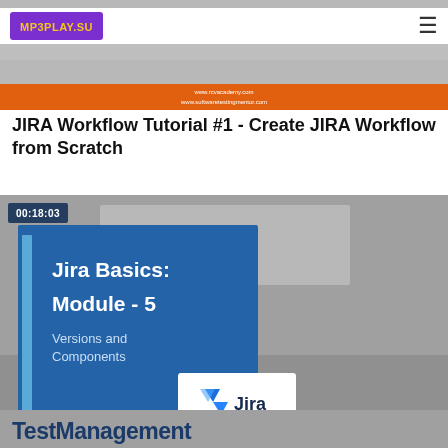MP3PLAY.SU
[Figure (screenshot): Top banner image with orange bar at bottom showing www.rcvacademy.com and www.softwaretestingmentor.com]
JIRA Workflow Tutorial #1 - Create JIRA Workflow from Scratch
[Figure (screenshot): Video thumbnail showing '00:18:03' timestamp badge, Jira Basics Module - 5 Versions and Components slide with blue background, Jira logo, and TestManagement text at bottom]
TestManagement